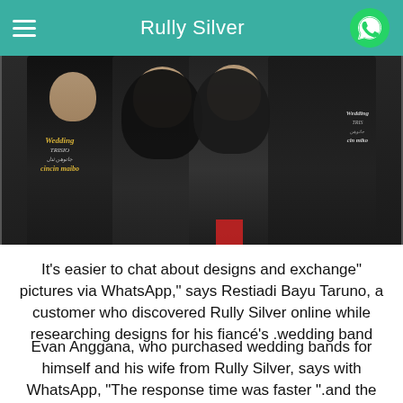Rully Silver
[Figure (photo): Group photo of four people wearing black t-shirts with 'Wedding TRISIO cincin maibo' printed on them, posing together indoors.]
"It's easier to chat about designs and exchange pictures via WhatsApp," says Restiadi Bayu Taruno, a customer who discovered Rully Silver online while researching designs for his fiancé's wedding band.
Evan Anggana, who purchased wedding bands for himself and his wife from Rully Silver, says with WhatsApp, "The response time was faster and the process smooth".